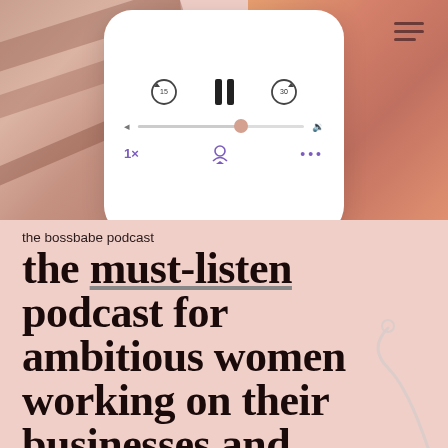[Figure (screenshot): Phone podcast player UI with pause button, skip controls, progress bar with thumb, speed label 1x, podcast airplay icon, and ellipsis dots menu. Overlaid on collage of pink/tan textured photos.]
the bossbabe podcast
the must-listen podcast for ambitious women working on their businesses and